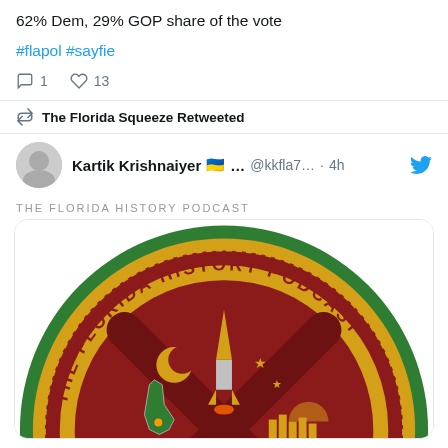62% Dem, 29% GOP share of the vote
#flapol #sayfie
1  13
The Florida Squeeze Retweeted
Kartik Krishnaiyer 🇺🇦 ... @kkfla7... · 4h
THE FLORIDA HISTORY PODCAST
[Figure (logo): The Florida History Podcast circular logo with green border, gold ring with podcast name text, and central seal showing Florida map, rocket, crescent moon, stars, and a city skyline on a dark red/maroon background]